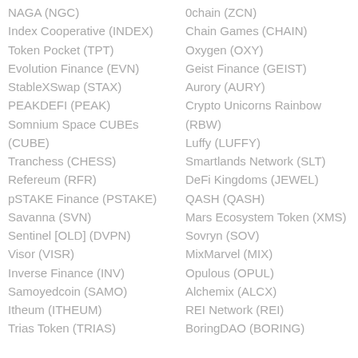NAGA (NGC)
Index Cooperative (INDEX)
Token Pocket (TPT)
Evolution Finance (EVN)
StableXSwap (STAX)
PEAKDEFI (PEAK)
Somnium Space CUBEs (CUBE)
Tranchess (CHESS)
Refereum (RFR)
pSTAKE Finance (PSTAKE)
Savanna (SVN)
Sentinel [OLD] (DVPN)
Visor (VISR)
Inverse Finance (INV)
Samoyedcoin (SAMO)
Itheum (ITHEUM)
Trias Token (TRIAS)
0chain (ZCN)
Chain Games (CHAIN)
Oxygen (OXY)
Geist Finance (GEIST)
Aurory (AURY)
Crypto Unicorns Rainbow (RBW)
Luffy (LUFFY)
Smartlands Network (SLT)
DeFi Kingdoms (JEWEL)
QASH (QASH)
Mars Ecosystem Token (XMS)
Sovryn (SOV)
MixMarvel (MIX)
Opulous (OPUL)
Alchemix (ALCX)
REI Network (REI)
BoringDAO (BORING)